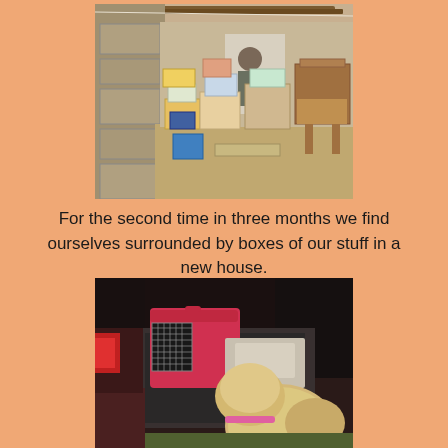[Figure (photo): Interior of a stone-walled room filled with moving boxes and packed belongings; a person stands in the background among stacked boxes, bags, and furniture including wooden chairs on the right.]
For the second time in three months we find ourselves surrounded by boxes of our stuff in a new house.
[Figure (photo): Back of a car/SUV with the boot open showing a pink pet carrier/crate inside, along with bags; a fluffy golden/cream dog (viewed from behind) looks into the boot, wearing a pink collar.]